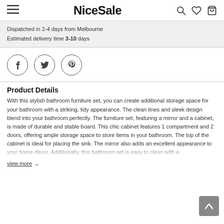NiceSale
Dispatched in 2-4 days from Melbourne
Estimated delivery time 3-10 days
[Figure (illustration): Three circular social media icon buttons: Facebook (f), Twitter (bird), Pinterest (p)]
Product Details
With this stylish bathroom furniture set, you can create additional storage space for your bathroom with a striking, tidy appearance. The clean lines and sleek design blend into your bathroom perfectly. The furniture set, featuring a mirror and a cabinet, is made of durable and stable board. This chic cabinet features 1 compartment and 2 doors, offering ample storage space to store items in your bathroom. The top of the cabinet is ideal for placing the sink. The mirror also adds an excellent appearance to your home decor. Additionally, this bathroom set is easy to clean with a
view more ∨